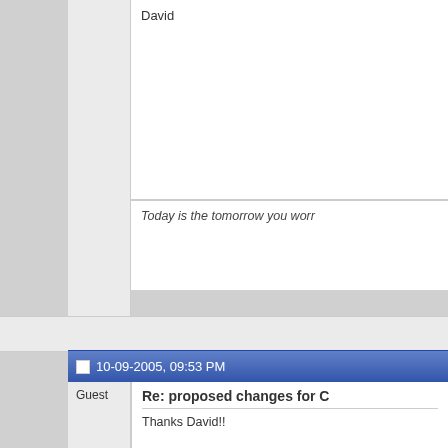David
Today is the tomorrow you worried about yesterday.
10-09-2005, 09:53 PM
Guest
Re: proposed changes for C
Thanks David!! In my case someone actually re bike without me knowing. I am a numbers, as you pointed out, bu matter what, just in case somet that info in a helpful way? How about as much as someone forg I agree we need enough of a fi amnesia [img]/ubbthreads/images/%%Gl Any options for the racers woul I appreciate the feedback!!